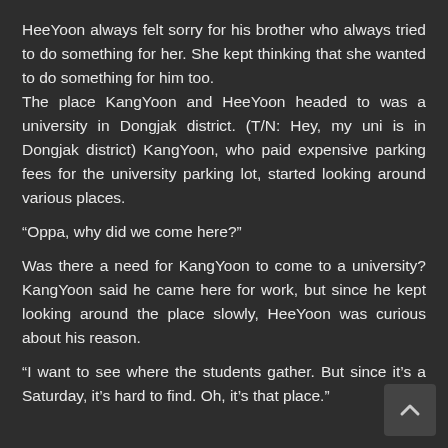HeeYoon always felt sorry for his brother who always tried to do something for her. She kept thinking that she wanted to do something for him too.
The place KangYoon and HeeYoon headed to was a university in Dongjak district. (T/N: Hey, my uni is in Dongjak district) KangYoon, who paid expensive parking fees for the university parking lot, started looking around various places.
“Oppa, why did we come here?”
Was there a need for KangYoon to come to a university? KangYoon said he came here for work, but since he kept looking around the place slowly, HeeYoon was curious about his reason.
“I want to see where the students gather. But since it’s a Saturday, it’s hard to find. Oh, it’s that place.”